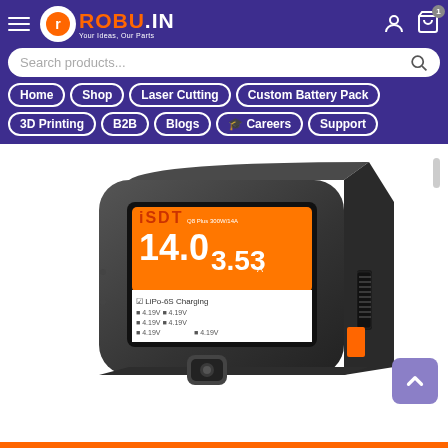ROBU.IN — Your Ideas, Our Parts
Search products...
Home
Shop
Laser Cutting
Custom Battery Pack
3D Printing
B2B
Blogs
🎓 Careers
Support
[Figure (photo): ISDT Q8 Plus 300W/14A smart battery charger with orange touchscreen display showing LiPo-6S charging at 14.0V and 3.53A, viewed at an angle showing the front and right side of the black device]